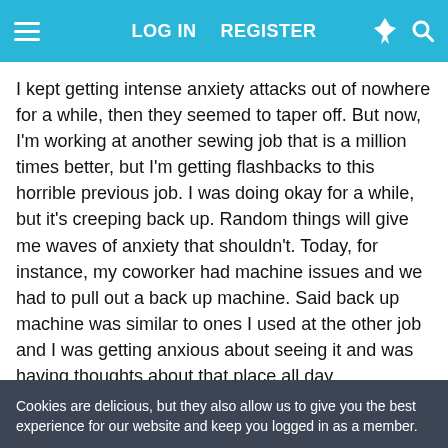LOG IN  REGISTER
I kept getting intense anxiety attacks out of nowhere for a while, then they seemed to taper off. But now, I'm working at another sewing job that is a million times better, but I'm getting flashbacks to this horrible previous job. I was doing okay for a while, but it's creeping back up. Random things will give me waves of anxiety that shouldn't. Today, for instance, my coworker had machine issues and we had to pull out a back up machine. Said back up machine was similar to ones I used at the other job and I was getting anxious about seeing it and was having thoughts about that place all day.

How can I get this horrifying pit of despair out of my life? I'm tired of giving this place any more of my energy. Any help would be appreciated.
Cookies are delicious, but they also allow us to give you the best experience for our website and keep you logged in as a member.